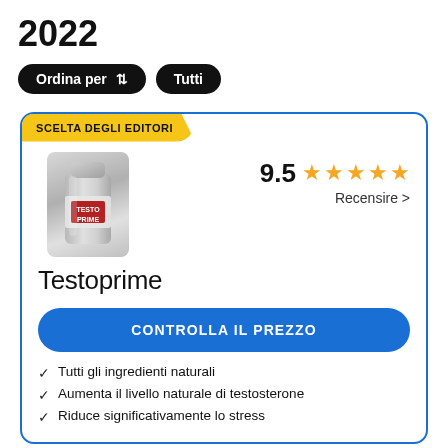2022
Ordina per  ↕    Tutti
[Figure (illustration): Product card with a silver supplement bottle labeled TESTO PRIME. Badge: SCELTA DEGLI EDITORI. Rating: 9.5 with 5 orange stars. Link: Recensire >. Product name: Testoprime. Blue CTA button: CONTROLLA IL PREZZO. Checkmarks: Tutti gli ingredienti naturali, Aumenta il livello naturale di testosterone, Riduce significativamente lo stress.]